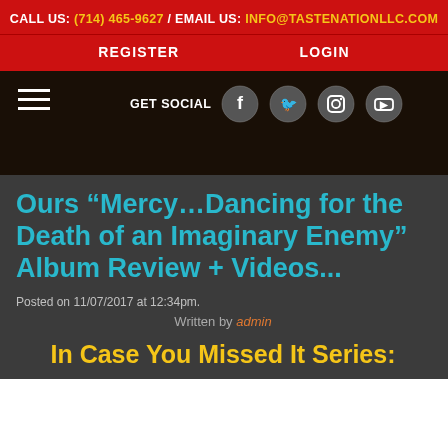CALL US: (714) 465-9627 / EMAIL US: INFO@TASTENATIONLLC.COM
REGISTER   LOGIN
[Figure (screenshot): Dark navigation bar with hamburger menu icon on left, GET SOCIAL text with Facebook, Twitter, Instagram, and YouTube social media icon buttons]
Ours “Mercy…Dancing for the Death of an Imaginary Enemy” Album Review + Videos...
Posted on 11/07/2017 at 12:34pm.
Written by admin
In Case You Missed It Series: